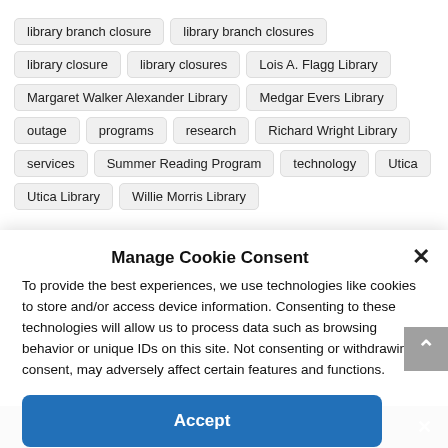library branch closure
library branch closures
library closure
library closures
Lois A. Flagg Library
Margaret Walker Alexander Library
Medgar Evers Library
outage
programs
research
Richard Wright Library
services
Summer Reading Program
technology
Utica
Utica Library
Willie Morris Library
Manage Cookie Consent
To provide the best experiences, we use technologies like cookies to store and/or access device information. Consenting to these technologies will allow us to process data such as browsing behavior or unique IDs on this site. Not consenting or withdrawing consent, may adversely affect certain features and functions.
Accept
Share This